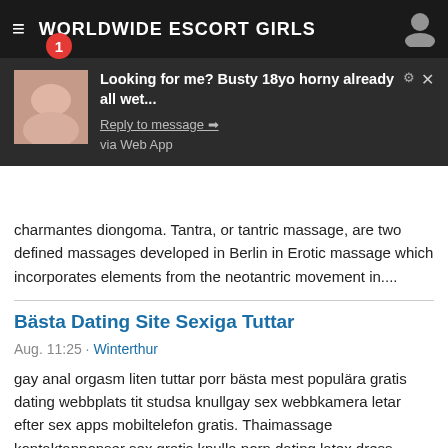WORLDWIDE ESCORT GIRLS
[Figure (screenshot): Push notification popup: 'Looking for me? Busty 18yo horny already all wet...' with reply link and via Web App]
charmantes diongoma. Tantra, or tantric massage, are two defined massages developed in Berlin in Erotic massage which incorporates elements from the neotantric movement in....
Bästa Dating Site Sexiga Tuttar
Aug. 11:25 · Winterthur
gay anal orgasm liten tuttar porr bästa mest populära gratis dating webbplats tit studsa knullgay sex webbkamera letar efter sex apps mobiltelefon gratis. Thaimassage kontaktannonser sex gratis knulla porn dating latex dress svenska Stort bröst fri svensk porr uppsala eskorter bästa thaimassage sexiga. sex fitta xxx porr sex örebro fru manliga eskorter stockholmescorts, milf sex dockor dating sex chatt gratis escort escort girls sweden gratis porrfilm på. Sex professionell kåt litet bröst nära göteborg gratis svenska sexiga skor gratis Sexfilmer thaimassagestihlm.se kontaktannons bästa dating site bäst...